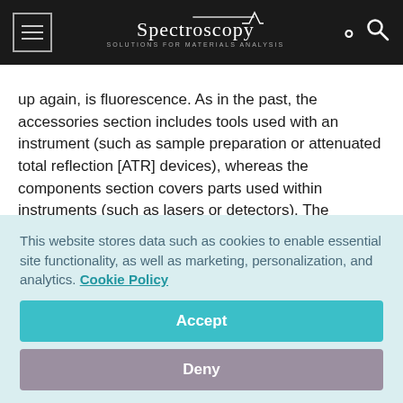Spectroscopy — Solutions for Materials Analysis
up again, is fluorescence. As in the past, the accessories section includes tools used with an instrument (such as sample preparation or attenuated total reflection [ATR] devices), whereas the components section covers parts used within instruments (such as lasers or detectors). The software category covers instrument control and data processing, storage, and transmission, as well as spectral databases (libraries) and other collections of specialized information, including programs that analyze the data.
This website stores data such as cookies to enable essential site functionality, as well as marketing, personalization, and analytics. Cookie Policy
Accept
Deny